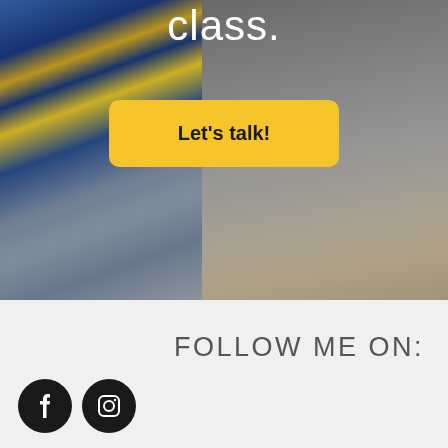[Figure (photo): Photo of two people: one wearing a blue and yellow plaid jacket on the left, another in a gray shirt on the right. Partial view showing torsos and arms.]
class.
Let's talk!
FOLLOW ME ON:
[Figure (logo): Facebook logo icon (white F on black circle) and Instagram logo icon (camera on black circle)]